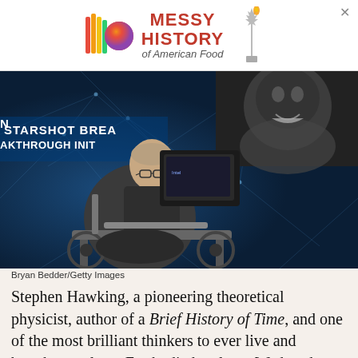[Figure (infographic): Advertisement banner: colorful logo with vertical rainbow bars and a circular gradient logo, text reading MESSY HISTORY of American Food, with Statue of Liberty image, close X button]
[Figure (photo): Stephen Hawking seated in his motorized wheelchair at the Breakthrough Starshot Initiative event, with blue network/star background and a black-and-white portrait in upper right corner]
Bryan Bedder/Getty Images
Stephen Hawking, a pioneering theoretical physicist, author of a Brief History of Time, and one of the most brilliant thinkers to ever live and breathe on planet Earth, died early on Wednesday morning at his home in Cambridge, England. He